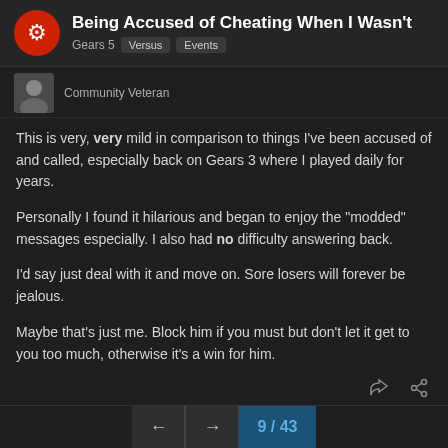Being Accused of Cheating When I Wasn't | Gears 5 | Versus | Events
Community Veteran
This is very, very mild in comparison to things I've been accused of and called, especially back on Gears 3 where I played daily for years.

Personally I found it hilarious and began to enjoy the "modded" messages especially. I also had no difficulty answering back.

I'd say just deal with it and move on. Sore losers will forever be jealous.

Maybe that's just me. Block him if you must but don't let it get to you too much, otherwise it's a win for him.
TCC CONDOR — Mar '21
I've been accused of cheatin…
9 / 43